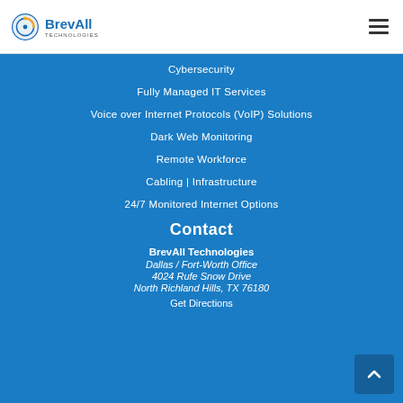BrevAll Technologies
Cybersecurity
Fully Managed IT Services
Voice over Internet Protocols (VoIP) Solutions
Dark Web Monitoring
Remote Workforce
Cabling | Infrastructure
24/7 Monitored Internet Options
Contact
BrevAll Technologies
Dallas / Fort-Worth Office
4024 Rufe Snow Drive
North Richland Hills, TX 76180
Get Directions